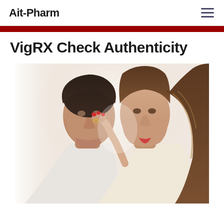Ait-Pharm
VigRX Check Authenticity
[Figure (photo): A couple facing each other closely, foreheads nearly touching. The man is on the left with short dark hair wearing a white shirt; the woman is on the right with long brown hair. The woman's hand with red nail polish is touching the man's neck/chin area. Romantic, intimate close-up portrait with soft bright background.]